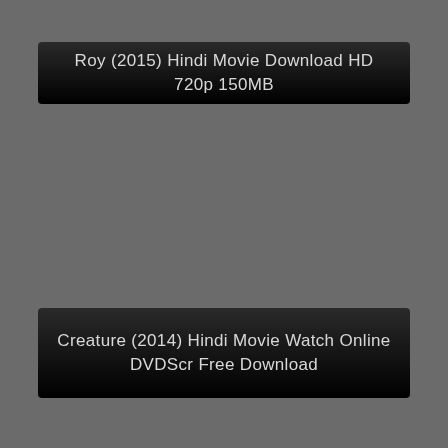Roy (2015) Hindi Movie Download HD 720p 150MB
Creature (2014) Hindi Movie Watch Online DVDScr Free Download